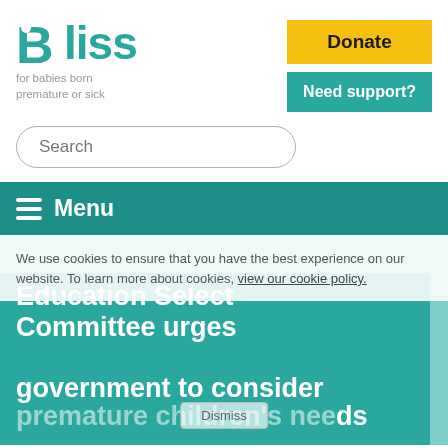[Figure (logo): Bliss charity logo — teal 'Bliss' wordmark with circular dot on B, tagline 'for babies born premature or sick']
Donate
Need support?
Search
≡ Menu
We use cookies to ensure that you have the best experience on our website. To learn more about cookies, view our cookie policy.
Education Select Committee urges government to consider premature children's needs
Dismiss